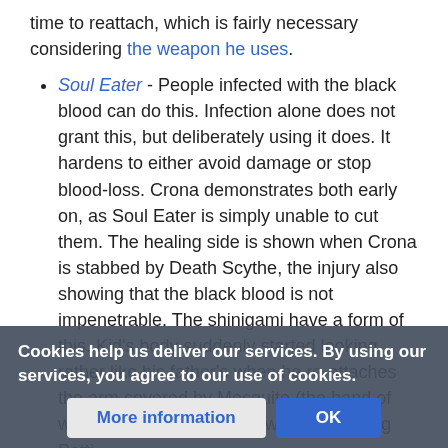time to reattach, which is fairly necessary considering the weapon he uses.
Soul Eater - People infected with the black blood can do this. Infection alone does not grant this, but deliberately using it does. It hardens to either avoid damage or stop blood-loss. Crona demonstrates both early on, as Soul Eater is simply unable to cut them. The healing side is shown when Crona is stabbed by Death Scythe, the injury also showing that the black blood is not impenetrable. The shinigami have a form of this. Kid's body suddenly started looking rather like his father's when he re-attaches the arm severed by Mosquito (the hand of which, come to think of it, was still holding Patti.
Minoru "Doctor" Kamiya in Yu Yu Hakusho can nullify his ability to ... limbs.
Cookies help us deliver our services. By using our services, you agree to our use of cookies.